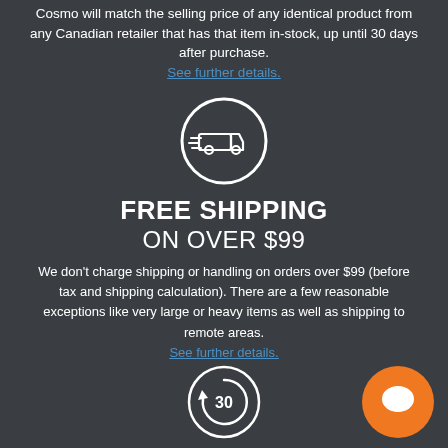Cosmo will match the selling price of any identical product from any Canadian retailer that has that item in-stock, up until 30 days after purchase.
See further details.
[Figure (illustration): White circle icon with a delivery van/truck with speed lines indicating fast delivery]
FREE SHIPPING
ON OVER $99
We don't charge shipping or handling on orders over $99 (before tax and shipping calculation). There are a few reasonable exceptions like very large or heavy items as well as shipping to remote areas.
See further details.
[Figure (illustration): White circle icon with a circular arrow and the number 30 inside, representing a 30-day return policy]
[Figure (illustration): Orange circle with a white chat bubble icon, representing a live chat button]